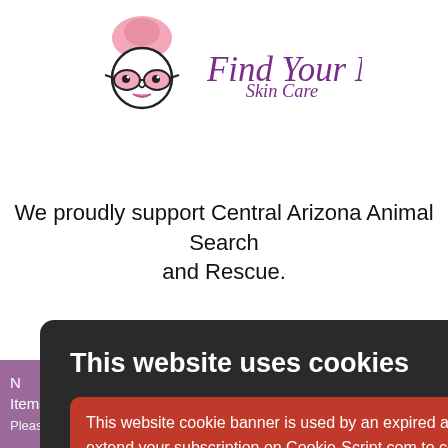[Figure (logo): Find Your Mojo Skin Care logo with illustrated face wearing pink towel and glasses]
We proudly support Central Arizona Animal Search and Rescue.
[Figure (screenshot): Cookie consent modal dialog on dark background. Title: 'This website uses cookies'. Red error box: 'This website cookie banner is used by an expired account. Website owner, please extend your subscription on Cookie-Script.com to continue using this cookie banner.' Body: 'This website uses cookies to improve user experience. By using our website you consent to all cookies in accordance with our Cookie Policy. Read more'. Two buttons: 'I AGREE' (green) and 'I DISAGREE' (outline). X close button in top right.]
Additional Items Not
Please see item descriptions for details. Dismiss